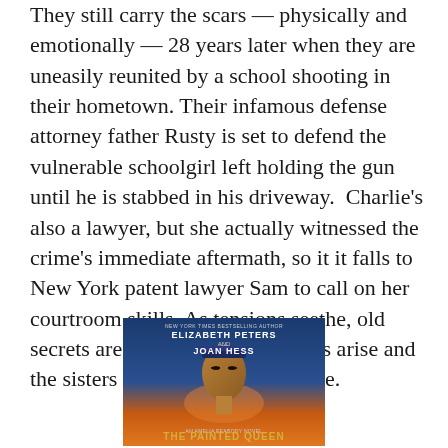They still carry the scars — physically and emotionally — 28 years later when they are uneasily reunited by a school shooting in their hometown. Their infamous defense attorney father Rusty is set to defend the vulnerable schoolgirl left holding the gun until he is stabbed in his driveway.  Charlie's also a lawyer, but she actually witnessed the crime's immediate aftermath, so it it falls to New York patent lawyer Sam to call on her courtroom skills. As tensions seethe, old secrets are revealed, new conflicts arise and the sisters clash. Tense and intense.
[Figure (illustration): Book cover: Elizabeth Peters and Joan Hess - The Painted Queen, featuring a face reminiscent of an Egyptian figure against a blue/orange background]